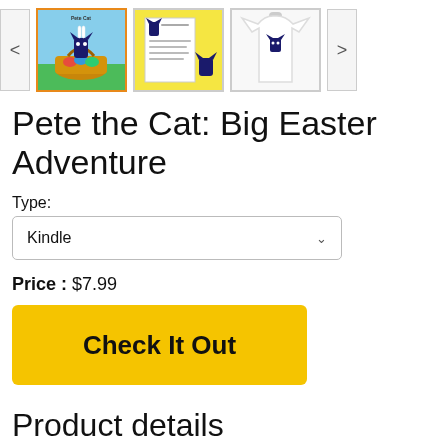[Figure (other): Product image carousel showing three thumbnail images of Pete the Cat: Big Easter Adventure — a book cover, an activity sheet, and a white t-shirt. Navigation arrows on either side.]
Pete the Cat: Big Easter Adventure
Type:
Kindle
Price : $7.99
Check It Out
Product details
Age Range: 4 - 8 years